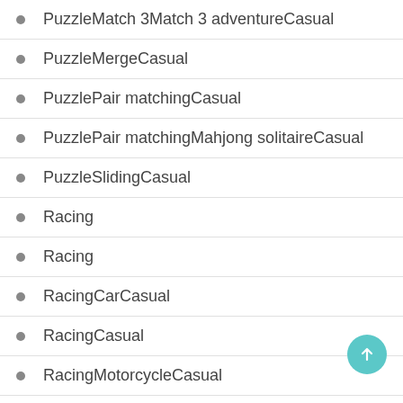PuzzleMatch 3Match 3 adventureCasual
PuzzleMergeCasual
PuzzlePair matchingCasual
PuzzlePair matchingMahjong solitaireCasual
PuzzleSlidingCasual
Racing
Racing
RacingCarCasual
RacingCasual
RacingMotorcycleCasual